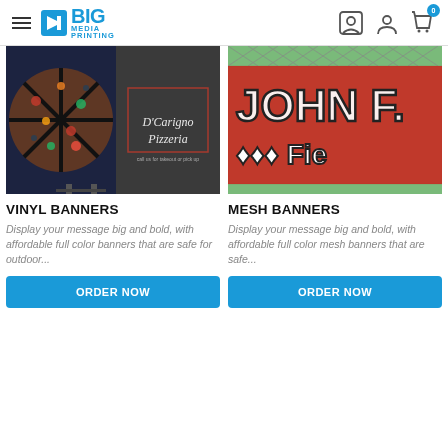BIG MEDIA PRINTING
[Figure (photo): D'Carigno Pizzeria vinyl banner displayed outdoors on a stand, showing pizza slices on the left and the restaurant name on the right]
VINYL BANNERS
Display your message big and bold, with affordable full color banners that are safe for outdoor...
[Figure (photo): JOHN F. ... Fie - Red mesh banner hung on a chain-link fence partially visible]
MESH BANNERS
Display your message big and bold, with affordable full color mesh banners that are safe...